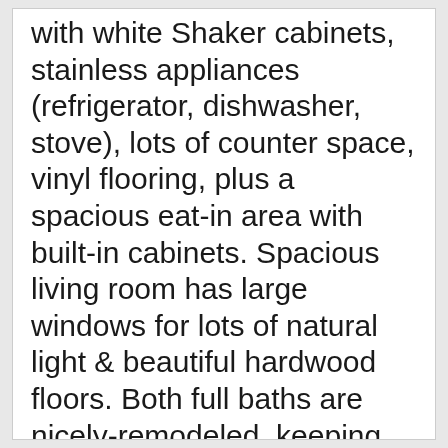with white Shaker cabinets, stainless appliances (refrigerator, dishwasher, stove), lots of counter space, vinyl flooring, plus a spacious eat-in area with built-in cabinets. Spacious living room has large windows for lots of natural light & beautiful hardwood floors. Both full baths are nicely-remodeled, keeping some of their original charm, but adding new light fixtures & plumbing fixtures in '22. Other features: central AC; ceiling fans; basement rec room with fireplace, plus basement has an area roughed-in-ready for a bathroom; upgraded electrical. New furnace in '21 and hot water tank in '22, both under warranty.